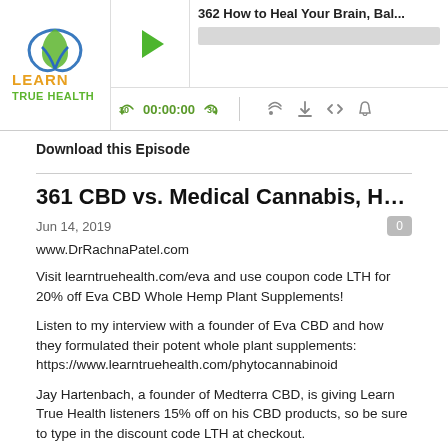[Figure (screenshot): Learn True Health podcast player widget showing episode 362 titled '362 How to Heal Your Brain, Bal...' with play button, progress bar, and audio controls (30s back, time 00:00:00, 30s forward, and icons for cast, download, embed, bell).]
Download this Episode
361 CBD vs. Medical Cannabis, How and W...
Jun 14, 2019
www.DrRachnaPatel.com
Visit learntruehealth.com/eva and use coupon code LTH for 20% off Eva CBD Whole Hemp Plant Supplements!
Listen to my interview with a founder of Eva CBD and how they formulated their potent whole plant supplements:
https://www.learntruehealth.com/phytocannabinoid
Jay Hartenbach, a founder of Medterra CBD, is giving Learn True Health listeners 15% off on his CBD products, so be sure to type in the discount code LTH at checkout.
http://www.medterracbd.com
You can listen to my interview with Jay about the hemp farming and